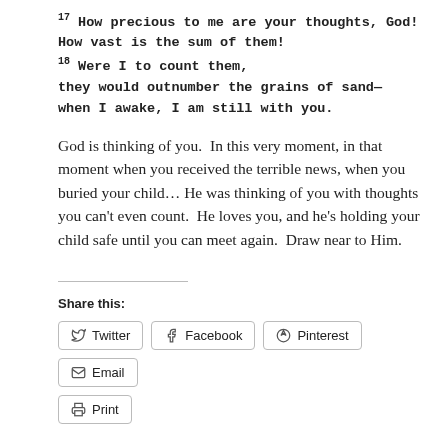17 How precious to me are your thoughts, God! How vast is the sum of them! 18 Were I to count them, they would outnumber the grains of sand—when I awake, I am still with you.
God is thinking of you.  In this very moment, in that moment when you received the terrible news, when you buried your child... He was thinking of you with thoughts you can't even count.  He loves you, and he's holding your child safe until you can meet again.  Draw near to Him.
Share this:
Twitter  Facebook  Pinterest  Email  Print